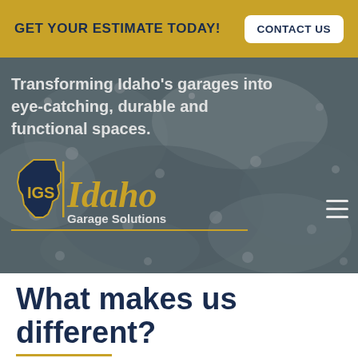GET YOUR ESTIMATE TODAY! | CONTACT US
[Figure (screenshot): Hero banner image of a garage floor with gravel/chip texture, overlaid with text 'Transforming Idaho's garages into eye-catching, durable and functional spaces.' and the Idaho Garage Solutions (IGS) logo with Idaho silhouette icon.]
What makes us different?